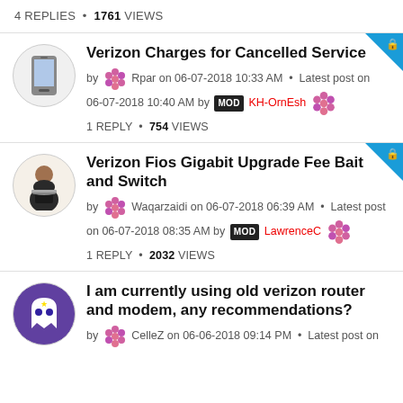4 REPLIES • 1761 VIEWS
Verizon Charges for Cancelled Service
by Rpar on 06-07-2018 10:33 AM • Latest post on 06-07-2018 10:40 AM by MOD KH-OrnEsh
1 REPLY • 754 VIEWS
Verizon Fios Gigabit Upgrade Fee Bait and Switch
by Waqarzaidi on 06-07-2018 06:39 AM • Latest post on 06-07-2018 08:35 AM by MOD LawrenceC
1 REPLY • 2032 VIEWS
I am currently using old verizon router and modem, any recommendations?
by CelleZ on 06-06-2018 09:14 PM • Latest post on